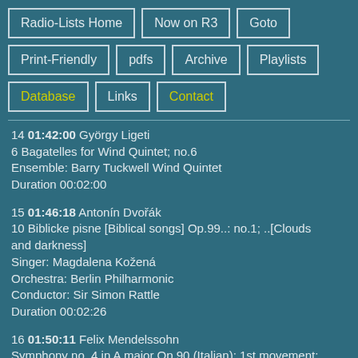Radio-Lists Home
Now on R3
Goto
Print-Friendly
pdfs
Archive
Playlists
Database
Links
Contact
14 01:42:00 György Ligeti
6 Bagatelles for Wind Quintet; no.6
Ensemble: Barry Tuckwell Wind Quintet
Duration 00:02:00
15 01:46:18 Antonín Dvořák
10 Biblicke pisne [Biblical songs] Op.99..: no.1; ..[Clouds and darkness]
Singer: Magdalena Kožená
Orchestra: Berlin Philharmonic
Conductor: Sir Simon Rattle
Duration 00:02:26
16 01:50:11 Felix Mendelssohn
Symphony no. 4 in A major Op.90 (Italian): 1st movement; Allegro vivace